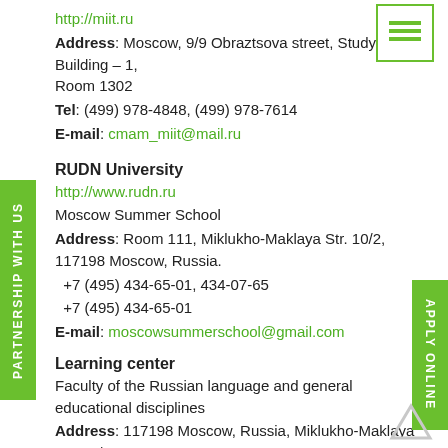http://miit.ru
Address: Moscow, 9/9 Obraztsova street, Study Building – 1, Room 1302
Tel: (499) 978-4848, (499) 978-7614
E-mail: cmam_miit@mail.ru
RUDN University
http://www.rudn.ru
Moscow Summer School
Address: Room 111, Miklukho-Maklaya Str. 10/2, 117198 Moscow, Russia.
+7 (495) 434-65-01, 434-07-65
+7 (495) 434-65-01
E-mail: moscowsummerschool@gmail.com
Learning center
Faculty of the Russian language and general educational disciplines
Address: 117198 Moscow, Russia, Miklukho-Maklaya Str. 10/3, Room 203 or 215.
Tel.: +7 (495) 433-00-01, 787-38-03 (15-13)
Tver